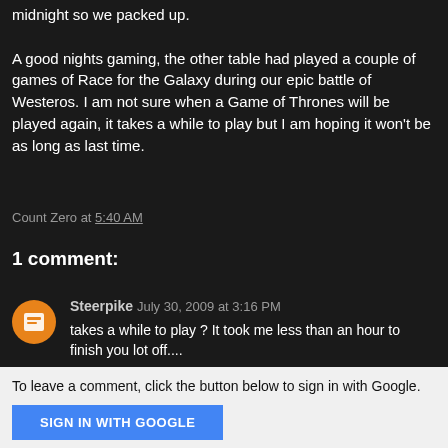midnight so we packed up.

A good nights gaming, the other table had played a couple of games of Race for the Galaxy during our epic battle of Westeros. I am not sure when a Game of Thrones will be played again, it takes a while to play but I am hoping it won't be as long as last time.
Count Zero at 5:40 AM
1 comment:
Steerpike July 30, 2009 at 3:16 PM
takes a while to play ? It took me less than an hour to finish you lot off....
Reply
To leave a comment, click the button below to sign in with Google.
SIGN IN WITH GOOGLE